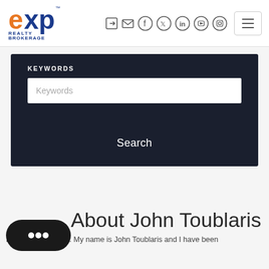[Figure (logo): eXp Realty Brokerage logo with orange 'e', blue 'xp' and text 'REALTY BROKERAGE']
[Figure (screenshot): Navigation header icons: login, email, Facebook, Twitter, LinkedIn, YouTube, Instagram, and hamburger menu button]
KEYWORDS
Keywords
Search
About John Toublaris
Hello and welcome. My name is John Toublaris and I have been